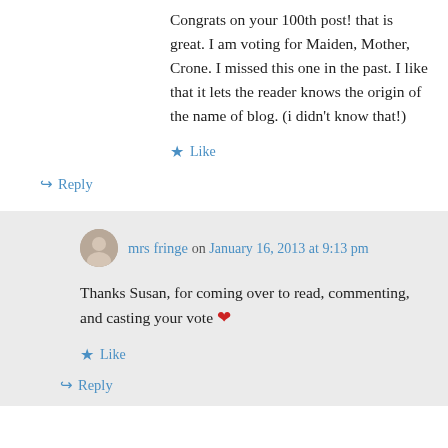Congrats on your 100th post! that is great. I am voting for Maiden, Mother, Crone. I missed this one in the past. I like that it lets the reader knows the origin of the name of blog. (i didn't know that!)
Like
Reply
mrs fringe on January 16, 2013 at 9:13 pm
Thanks Susan, for coming over to read, commenting, and casting your vote ❤
Like
Reply